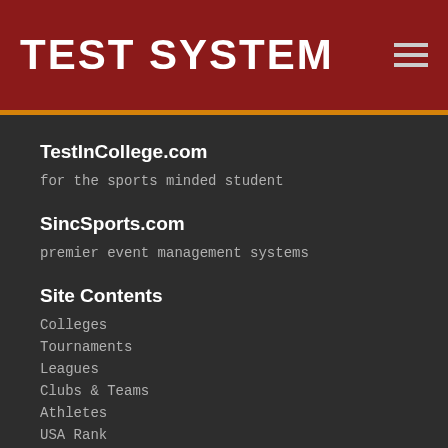TEST SYSTEM
TestInCollege.com
for the sports minded student
SincSports.com
premier event management systems
Site Contents
Colleges
Tournaments
Leagues
Clubs & Teams
Athletes
USA Rank
Help & Support
Contact Us